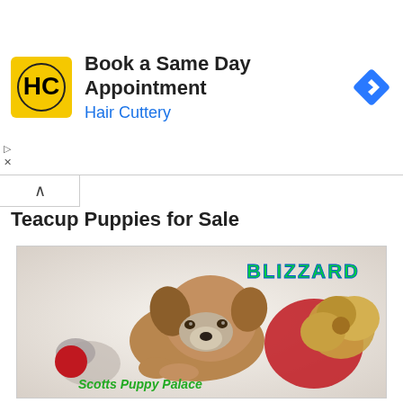[Figure (screenshot): Hair Cuttery advertisement banner with yellow HC logo, text 'Book a Same Day Appointment' and 'Hair Cuttery' in blue, and blue navigation diamond icon on the right]
Teacup Puppies for Sale
[Figure (photo): Photo of a small teacup puppy lying on white fluffy surface next to red tinsel and gold ribbon bows. Text 'BLIZZARD' in green/teal at top right, 'Scotts Puppy Palace' in green italic at bottom left.]
Teacup Puppies for Sale